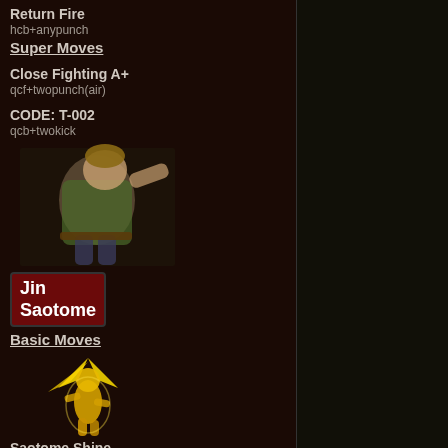Return Fire
hcb+anypunch
Super Moves
Close Fighting A+
qcf+twopunch(air)
CODE: T-002
qcb+twokick
[Figure (illustration): Jin Saotome character sprite illustration]
Jin Saotome
Basic Moves
[Figure (illustration): Jin Saotome golden shining stance sprite]
Saotome Shine
(automatic)
When Jin is the last surviving member of his team and his life is low, he automatically gains super armor and increased damage output.
Special Moves
[Figure (illustration): Special move attack sprite at bottom]